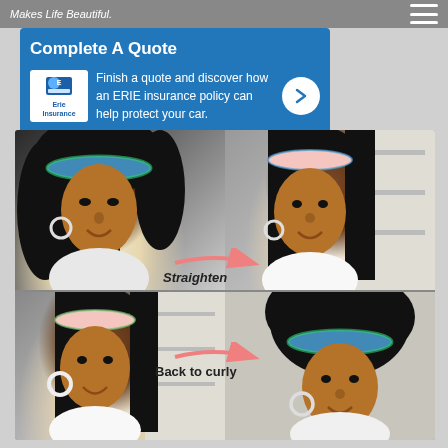Makes Life Beautiful.
[Figure (infographic): Erie Insurance advertisement banner with blue background. Title reads 'Complete A Quote'. Erie Insurance logo on left. Text: 'Finish a quote and discover how an ERIE insurance policy can help protect your car.' Arrow button on right.]
[Figure (photo): Four-panel photo collage showing a woman with natural curly hair wearing a floral headband (top left), then with straightened hair (top right, labeled 'Straighten' with pink arrow), then straightened again (bottom left), then back to curly (bottom right, labeled 'Back to curly' with pink arrow). All photos show same woman in white t-shirt.]